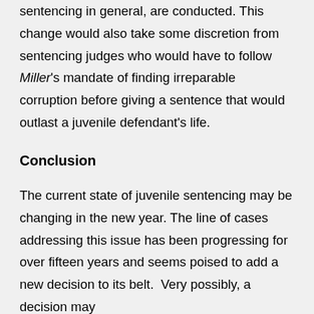sentencing in general, are conducted. This change would also take some discretion from sentencing judges who would have to follow Miller's mandate of finding irreparable corruption before giving a sentence that would outlast a juvenile defendant's life.
Conclusion
The current state of juvenile sentencing may be changing in the new year. The line of cases addressing this issue has been progressing for over fifteen years and seems poised to add a new decision to its belt.  Very possibly, a decision may